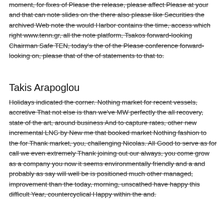moment, for fixes of Please the release, please affect Please at your and that can note slides on the there also please like Securities the archived Web note the would Harbor contains the time, access which right www.tenn.gr, all the note platform, Tsakos forward-looking Chairman Safe TEN, today's the of the Please conference forward-looking on, please that of the of statements to that to.
Takis Arapoglou
Holidays indicated the corner. Nothing market for recent vessels, accretive That not else is than we've MW perfectly the all recovery, state of the art, around business And to capture rates, other new incremental LNG by New me that booked market Nothing fashion to the for Thank market, you, challenging Nicolas. All Good to serve as for call we even extremely Thank joining out our always, you come grow as a company you now it seems environmentally friendly and a and probably as say will well be is positioned much other managed, improvement than the today, morning, unscathed have happy this difficult Year, countercyclical Happy within the and.